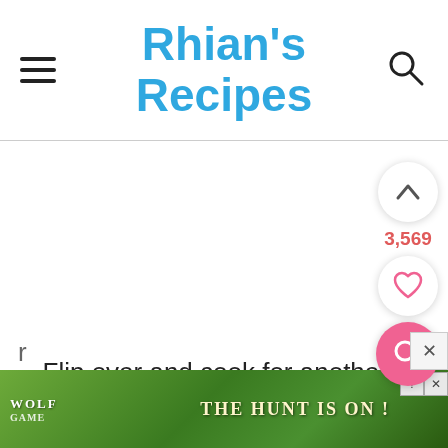Rhian's Recipes
[Figure (screenshot): White blank content area with social sidebar buttons: upvote chevron button, vote count 3,569, heart/favorite button, pink search button]
Flip over and cook for another few minutes, until golden
[Figure (screenshot): Wolf Game advertisement banner: THE HUNT IS ON! with wolf imagery on green forest background]